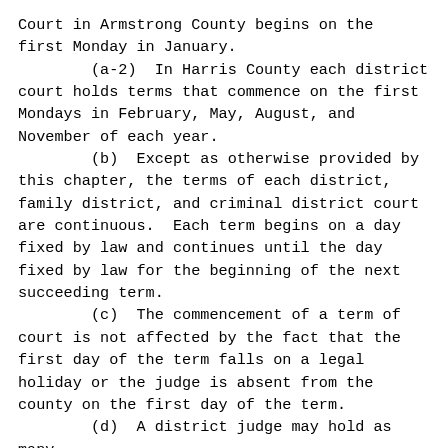Court in Armstrong County begins on the first Monday in January.
        (a-2)  In Harris County each district court holds terms that commence on the first Mondays in February, May, August, and November of each year.
        (b)  Except as otherwise provided by this chapter, the terms of each district, family district, and criminal district court are continuous.  Each term begins on a day fixed by law and continues until the day fixed by law for the beginning of the next succeeding term.
        (c)  The commencement of a term of court is not affected by the fact that the first day of the term falls on a legal holiday or the judge is absent from the county on the first day of the term.
        (d)  A district judge may hold as many